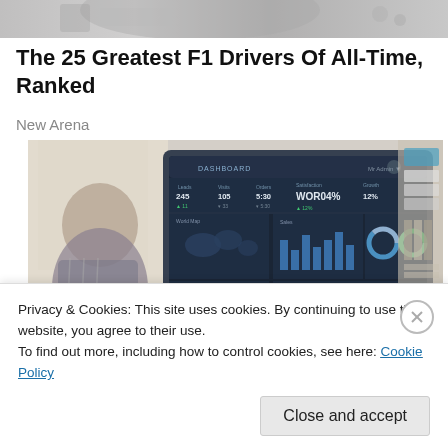[Figure (photo): Partial cropped image at top of page, appears to be a race-related or editorial photo, mostly grey tones]
The 25 Greatest F1 Drivers Of All-Time, Ranked
New Arena
[Figure (screenshot): A person sitting at a desk looking at a large monitor displaying a dashboard with charts, maps, and KPI metrics. The dashboard shows widgets labeled DASHBOARD, with bar charts, a donut chart, a world map, and various statistics.]
Privacy & Cookies: This site uses cookies. By continuing to use this website, you agree to their use.
To find out more, including how to control cookies, see here: Cookie Policy